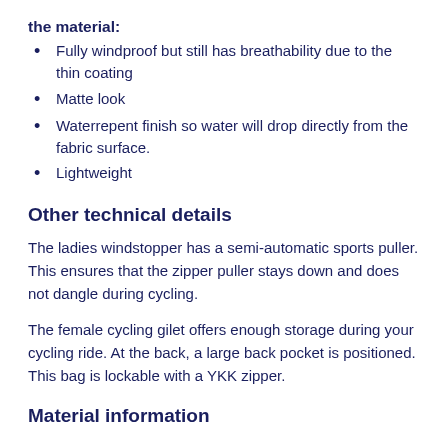the material:
Fully windproof but still has breathability due to the thin coating
Matte look
Waterrepent finish so water will drop directly from the fabric surface.
Lightweight
Other technical details
The ladies windstopper has a semi-automatic sports puller. This ensures that the zipper puller stays down and does not dangle during cycling.
The female cycling gilet offers enough storage during your cycling ride. At the back, a large back pocket is positioned. This bag is lockable with a YKK zipper.
Material information